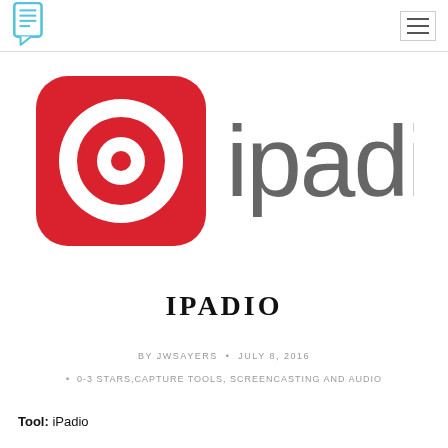[Figure (logo): ipadio logo: red rounded square with white target/bullseye icon on the left, and grey lowercase text 'ipadio' on the right]
IPADIO
BY JWSAYERS • JULY 8, 2016
• 0-3 STARS,CAPTURE TOOLS, SCREENCASTING AND AUDIO
Tool: iPadio